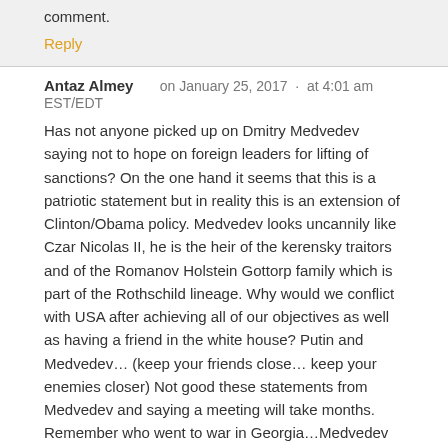comment.
Reply
Antaz Almey   on January 25, 2017  ·  at 4:01 am EST/EDT
Has not anyone picked up on Dmitry Medvedev saying not to hope on foreign leaders for lifting of sanctions? On the one hand it seems that this is a patriotic statement but in reality this is an extension of Clinton/Obama policy. Medvedev looks uncannily like Czar Nicolas II, he is the heir of the kerensky traitors and of the Romanov Holstein Gottorp family which is part of the Rothschild lineage. Why would we conflict with USA after achieving all of our objectives as well as having a friend in the white house? Putin and Medvedev… (keep your friends close… keep your enemies closer) Not good these statements from Medvedev and saying a meeting will take months. Remember who went to war in Georgia…Medvedev has sabotagede EAEU forever. He wants to break eastern Russia off and unite Belarus Ukraine and western Russia.
Reply